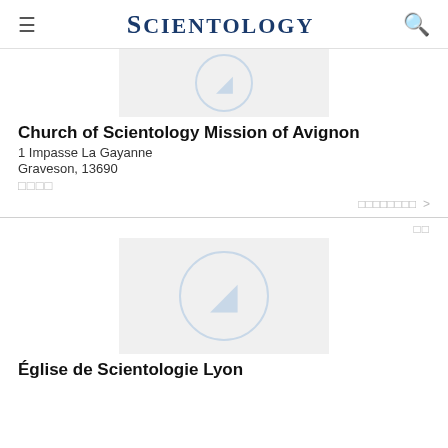SCIENTOLOGY
[Figure (photo): Partial thumbnail image of Church of Scientology Mission of Avignon, showing top portion only with Scientology logo watermark on grey background]
Church of Scientology Mission of Avignon
1 Impasse La Gayanne
Graveson, 13690
□□□□
□□□□□□□□ >
□□
[Figure (photo): Thumbnail image of Église de Scientologie Lyon with Scientology logo watermark on grey background]
Église de Scientologie Lyon